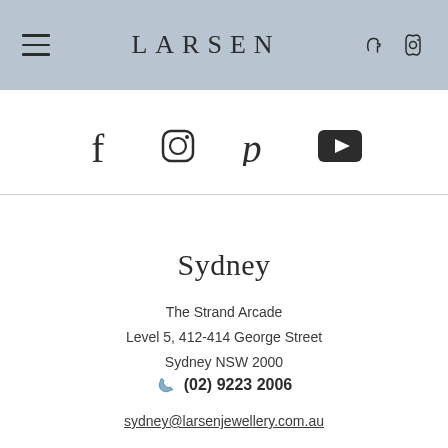LARSEN
[Figure (illustration): Social media icons row: Facebook, Instagram, Pinterest, YouTube]
Sydney
The Strand Arcade
Level 5, 412-414 George Street
Sydney NSW 2000
(02) 9223 2006
sydney@larsenjewellery.com.au